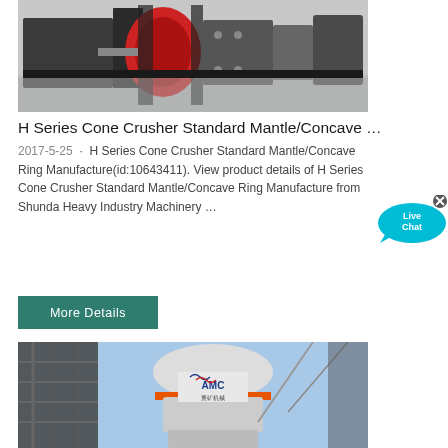[Figure (photo): Industrial cone crusher machine, red and grey metal parts, on factory floor]
H Series Cone Crusher Standard Mantle/Concave …
2017-5-25 · H Series Cone Crusher Standard Mantle/Concave Ring Manufacture(id:10643411). View product details of H Series Cone Crusher Standard Mantle/Concave Ring Manufacture from Shunda Heavy Industry Machinery …
[Figure (other): Live Chat button overlay bubble]
[Figure (photo): AMC branded cone crusher machine installed on industrial scaffolding structure against blue sky]